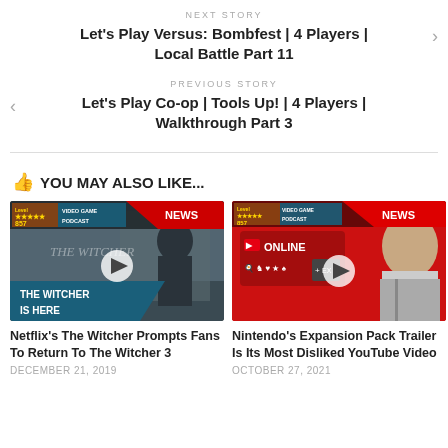NEXT STORY — Let's Play Versus: Bombfest | 4 Players | Local Battle Part 11
PREVIOUS STORY — Let's Play Co-op | Tools Up! | 4 Players | Walkthrough Part 3
👍 YOU MAY ALSO LIKE...
[Figure (screenshot): Video thumbnail showing The Witcher Netflix show with 'THE WITCHER IS HERE' text, Level 857 Video Game Podcast NEWS badge, and a play button]
Netflix's The Witcher Prompts Fans To Return To The Witcher 3
DECEMBER 21, 2019
[Figure (screenshot): Video thumbnail showing Nintendo Switch Online Expansion Pack ad with a man in grey hoodie, Level 857 Video Game Podcast NEWS badge, and a play button]
Nintendo's Expansion Pack Trailer Is Its Most Disliked YouTube Video
OCTOBER 27, 2021